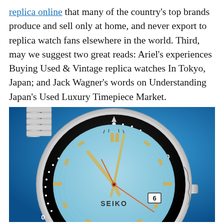replica online that many of the country's top brands produce and sell only at home, and never export to replica watch fans elsewhere in the world. Third, may we suggest two great reads: Ariel's experiences Buying Used & Vintage replica watches In Tokyo, Japan; and Jack Wagner's words on Understanding Japan's Used Luxury Timepiece Market.
[Figure (photo): Close-up photograph of a Seiko diver's watch with a light blue dial, black bezel with white markings, silver stainless steel bracelet, and luminous gold-colored hands and hour markers, set against a bright blue background.]